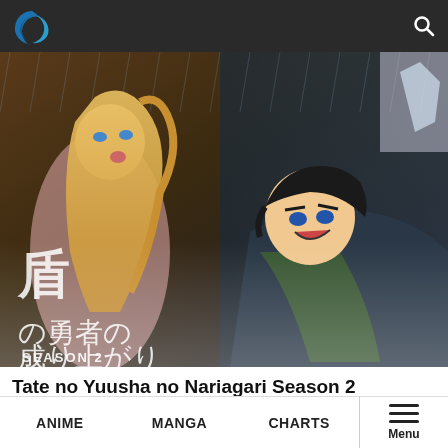Navigation bar with logo and search icon
[Figure (illustration): Anime promotional art for Tate no Yuusha no Nariagari Season 2 showing a blonde female character and a dark-haired male character with Japanese text and 'SEASON 2' text overlay]
Tate no Yuusha no Nariagari Season 2
Delayed to April 2022
ANIME   MANGA   CHARTS   Menu